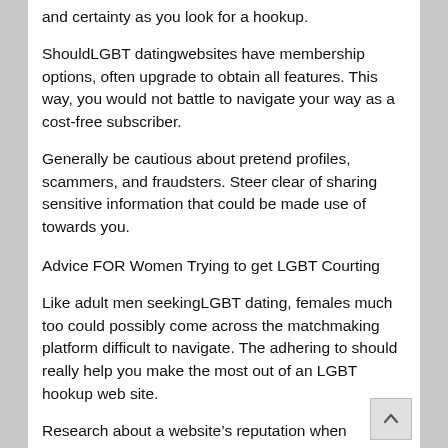and certainty as you look for a hookup.
ShouldLGBT datingwebsites have membership options, often upgrade to obtain all features. This way, you would not battle to navigate your way as a cost-free subscriber.
Generally be cautious about pretend profiles, scammers, and fraudsters. Steer clear of sharing sensitive information that could be made use of towards you.
Advice FOR Women Trying to get LGBT Courting
Like adult men seekingLGBT dating, females much too could possibly come across the matchmaking platform difficult to navigate. The adhering to should really help you make the most out of an LGBT hookup web site.
Research about a website’s reputation when contemplating registration. The system should be renowned and have numerous subscribers.